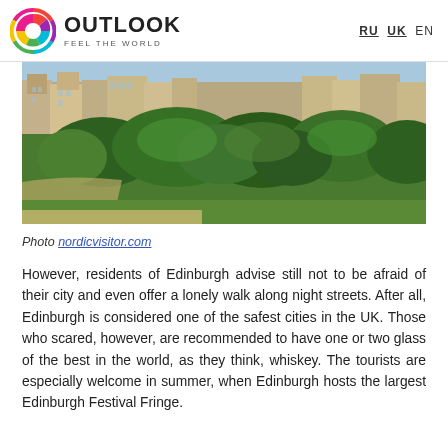OUTLOOK FEEL THE WORLD — RU UK EN
[Figure (photo): Aerial view of Edinburgh city with green trees and park in the foreground, buildings and urban landscape in the background]
Photo nordicvisitor.com
However, residents of Edinburgh advise still not to be afraid of their city and even offer a lonely walk along night streets. After all, Edinburgh is considered one of the safest cities in the UK. Those who scared, however, are recommended to have one or two glass of the best in the world, as they think, whiskey. The tourists are especially welcome in summer, when Edinburgh hosts the largest Edinburgh Festival Fringe.